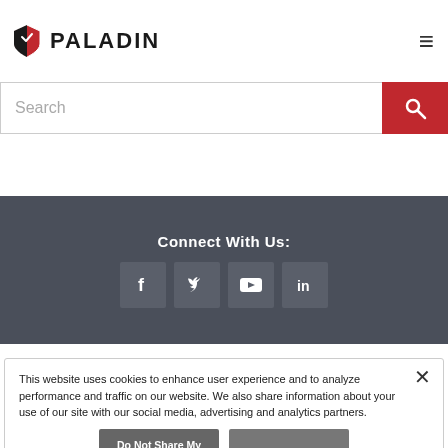PALADIN
[Figure (screenshot): Search bar with text input and red search button]
Connect With Us:
[Figure (infographic): Social media icons: Facebook, Twitter, YouTube, LinkedIn on dark gray background]
This website uses cookies to enhance user experience and to analyze performance and traffic on our website. We also share information about your use of our site with our social media, advertising and analytics partners.
Do Not Share My Personal Information
Accept Cookies